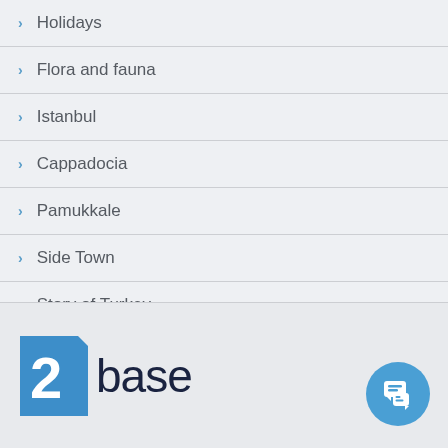Holidays
Flora and fauna
Istanbul
Cappadocia
Pamukkale
Side Town
Story of Turkey
[Figure (logo): 2base logo with blue square containing white number 2 and dark text 'base']
[Figure (illustration): Blue circular chat/message button icon]